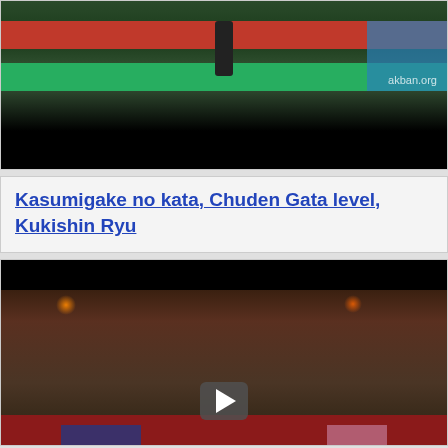[Figure (screenshot): Video thumbnail showing a martial arts practitioner on colored training mats with akban.org watermark, followed by a black bar at the bottom (video player controls area).]
Kasumigake no kata, Chuden Gata level, Kukishin Ryu
[Figure (screenshot): Video thumbnail showing multiple martial arts practitioners in a dojo on colored mats, with warm orange lighting. A play button is visible in the center.]